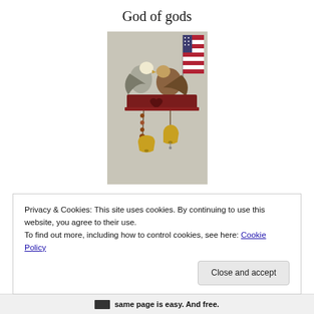God of gods
[Figure (photo): A decorative wall shelf in dark red/maroon color with a heart cutout, two eagle figurines on top, a small American flag behind them, and hanging bells/beads below.]
Privacy & Cookies: This site uses cookies. By continuing to use this website, you agree to their use.
To find out more, including how to control cookies, see here: Cookie Policy
Close and accept
same page is easy. And free.